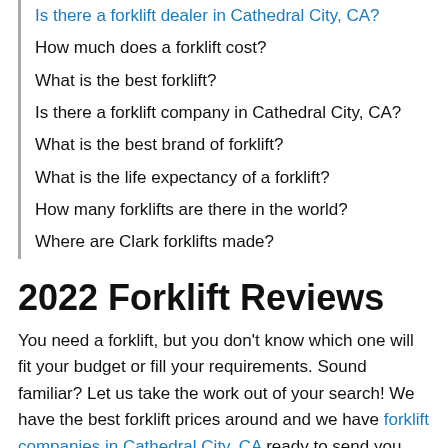Is there a forklift dealer in Cathedral City, CA?
How much does a forklift cost?
What is the best forklift?
Is there a forklift company in Cathedral City, CA?
What is the best brand of forklift?
What is the life expectancy of a forklift?
How many forklifts are there in the world?
Where are Clark forklifts made?
2022 Forklift Reviews
You need a forklift, but you don't know which one will fit your budget or fill your requirements. Sound familiar? Let us take the work out of your search! We have the best forklift prices around and we have forklift companies in Cathedral City, CA ready to send you free no-obligation prices. It takes just 1 minute! We will help save you time and money if you are looking for any of these services: